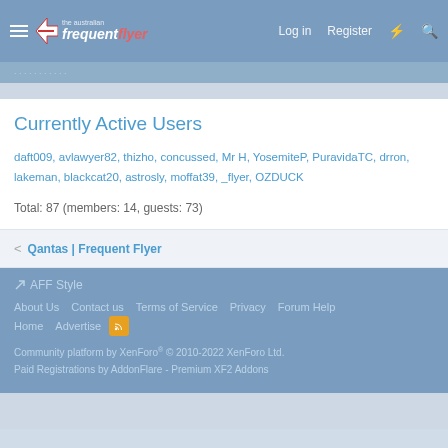The Australian Frequent Flyer — Log in | Register
Currently Active Users
daft009, avlawyer82, thizho, concussed, Mr H, YosemiteP, PuravidaTC, drron, lakeman, blackcat20, astrosly, moffat39, _flyer, OZDUCK
Total: 87 (members: 14, guests: 73)
< Qantas | Frequent Flyer
AFF Style | About Us | Contact us | Terms of Service | Privacy | Forum Help | Home | Advertise | Community platform by XenForo® © 2010-2022 XenForo Ltd. | Paid Registrations by AddonFlare - Premium XF2 Addons